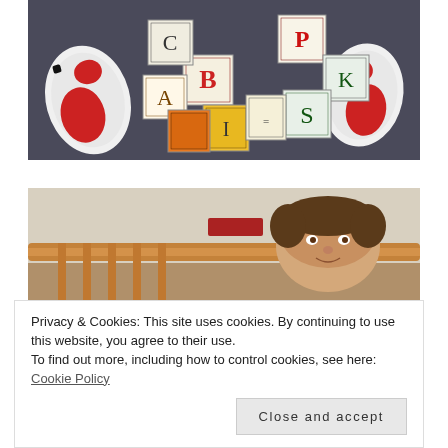[Figure (photo): Photo of alphabet blocks/toy building blocks with letters B, C, K, P, S, A and other letters visible, with red and white sneaker soles visible on left and right sides, viewed from above on a dark surface]
[Figure (photo): Photo of a child peeking over a wooden crib or bed rail, with a red object in the background]
Privacy & Cookies: This site uses cookies. By continuing to use this website, you agree to their use.
To find out more, including how to control cookies, see here: Cookie Policy
[Figure (photo): Partial photo of child, cropped at bottom of page]